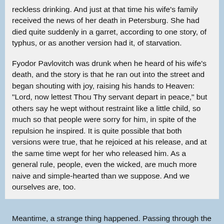reckless drinking. And just at that time his wife's family received the news of her death in Petersburg. She had died quite suddenly in a garret, according to one story, of typhus, or as another version had it, of starvation.

Fyodor Pavlovitch was drunk when he heard of his wife's death, and the story is that he ran out into the street and began shouting with joy, raising his hands to Heaven: "Lord, now lettest Thou Thy servant depart in peace," but others say he wept without restraint like a little child, so much so that people were sorry for him, in spite of the repulsion he inspired. It is quite possible that both versions were true, that he rejoiced at his release, and at the same time wept for her who released him. As a general rule, people, even the wicked, are much more naive and simple-hearted than we suppose. And we ourselves are, too.
Meantime, a strange thing happened. Passing through the...